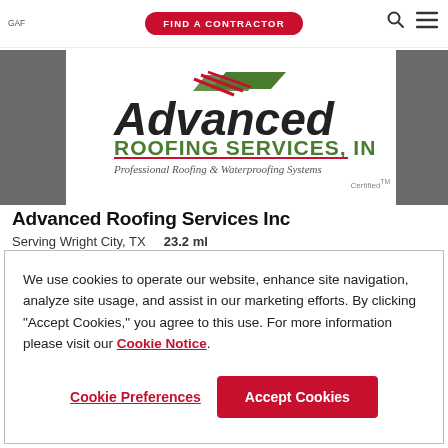GAF | FIND A CONTRACTOR
[Figure (logo): Advanced Roofing Services Inc logo with green and red design, tagline: Professional Roofing & Waterproofing Systems, Certified TM badge]
Advanced Roofing Services Inc
Serving Wright City, TX   23.2 ml
We use cookies to operate our website, enhance site navigation, analyze site usage, and assist in our marketing efforts. By clicking "Accept Cookies," you agree to this use. For more information please visit our Cookie Notice.
Cookie Preferences | Accept Cookies